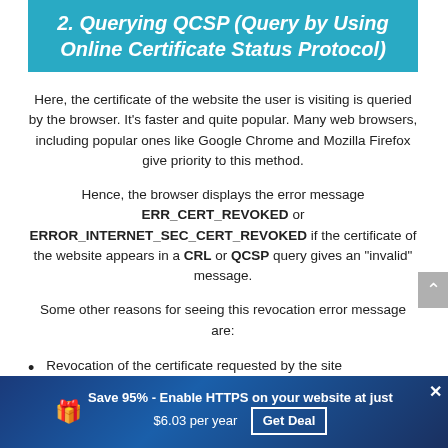2. Querying QCSP (Query by Using Online Certificate Status Protocol)
Here, the certificate of the website the user is visiting is queried by the browser. It's faster and quite popular. Many web browsers, including popular ones like Google Chrome and Mozilla Firefox give priority to this method.
Hence, the browser displays the error message ERR_CERT_REVOKED or ERROR_INTERNET_SEC_CERT_REVOKED if the certificate of the website appears in a CRL or QCSP query gives an "invalid" message.
Some other reasons for seeing this revocation error message are:
Revocation of the certificate requested by the site
Save 95% - Enable HTTPS on your website at just $6.03 per year  Get Deal